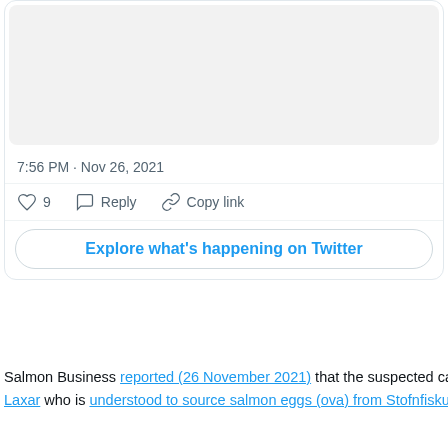[Figure (screenshot): Twitter/X tweet card showing a gray image area at top, a timestamp '7:56 PM · Nov 26, 2021', action buttons (like with count 9, Reply, Copy link), and an 'Explore what's happening on Twitter' button.]
7:56 PM · Nov 26, 2021
♡ 9   Reply   Copy link
Explore what's happening on Twitter
Salmon Business reported (26 November 2021) that the suspected case of ISA was a
Laxar who is understood to source salmon eggs (ova) from Stofnfiskur: